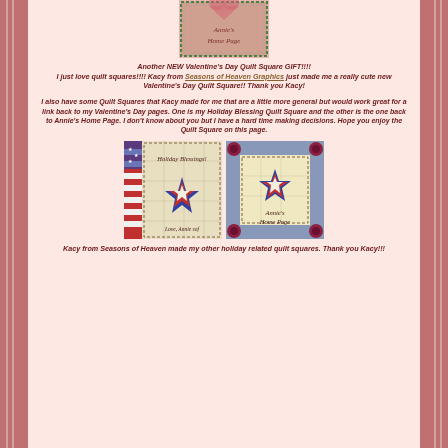[Figure (illustration): Annie's Home Page quilt square graphic with green dotted border on pink background with cursive text 'Annie's Home Page']
Another NEW Valentine's Day Quilt Square GIFT!!!! I just love quilt squares!!!! Kacy from Seasons of Heaven Graphics just made me a really cute new Valentine's Day Quilt Square!! Thank you Kacy!
I also have some Quilt Squares that Kacy made for me that are a little more general but would work great for a link back to my Valentine's Day pages. One is my Holiday Blessing Quilt Square and the other is the one back to Annie's Home Page. I don't know about you but I have a hard time making decisions. Hope you enjoy the Quilt Square on this page.
[Figure (illustration): Two quilt square graphics side by side: left one has 'Holiday Blessings! Love, Annie sof' with patriotic star motif; right one has 'Annie's Home Page' with patriotic star on tan background with dark red corner buttons]
Kacy from Seasons of Heaven made my other holiday related quilt squares. Thank you Kacy!!!